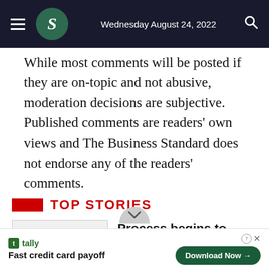Wednesday August 24, 2022
While most comments will be posted if they are on-topic and not abusive, moderation decisions are subjective. Published comments are readers’ own views and The Business Standard does not endorse any of the readers’ comments.
Top Stories
[Figure (photo): Photo: Collected]
Process begins to import Russian fertiliser